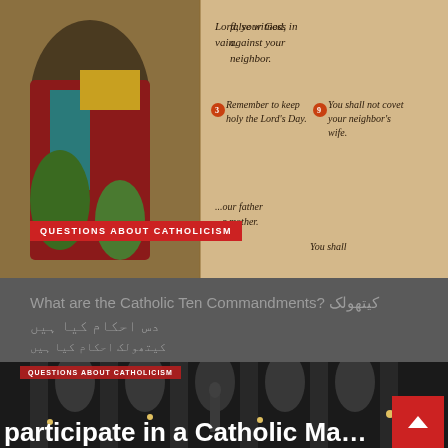[Figure (photo): Close-up photo of an old illuminated manuscript showing the Ten Commandments in Gothic script, with a painted figure of a saint or apostle visible on the left in colorful robes]
QUESTIONS ABOUT CATHOLICISM
What are the Catholic Ten Commandments? کیتھولک دس احکام کیا ہیں
کیتھولک احکام کیا ہیں
[Figure (photo): Interior of a grand Gothic cathedral with tall pointed arches, stone columns, and ornate architectural details in dim lighting]
QUESTIONS ABOUT CATHOLICISM
participate in a Catholic Ma…